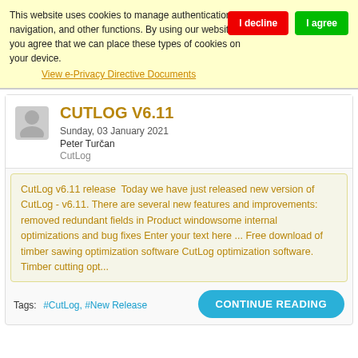This website uses cookies to manage authentication, navigation, and other functions. By using our website, you agree that we can place these types of cookies on your device.
View e-Privacy Directive Documents
CUTLOG V6.11
Sunday, 03 January 2021
Peter Turčan
CutLog
CutLog v6.11 release  Today we have just released new version of CutLog - v6.11. There are several new features and improvements: removed redundant fields in Product windowsome internal optimizations and bug fixes Enter your text here ... Free download of timber sawing optimization software CutLog optimization software. Timber cutting opt...
Tags:  #CutLog, #New Release